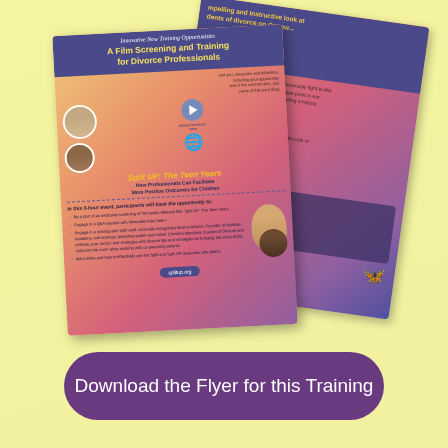[Figure (illustration): Two overlapping flyers for a film screening and training event called 'Split UP: The Teen Years - How Professionals Can Facilitate More Positive Outcomes for Children', shown at angles on a yellow background. Front flyer has a blue/purple header and orange-pink gradient body with photos and bullet points. Back flyer is rotated right showing complementary content.]
Download the Flyer for this Training